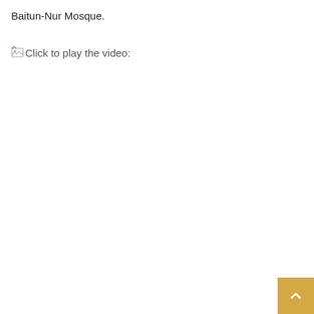Baitun-Nur Mosque.
[Figure (other): Broken image placeholder icon followed by text 'Click to play the video:']
[Figure (other): Orange/gold scroll-to-top button with upward arrow in bottom-right corner]